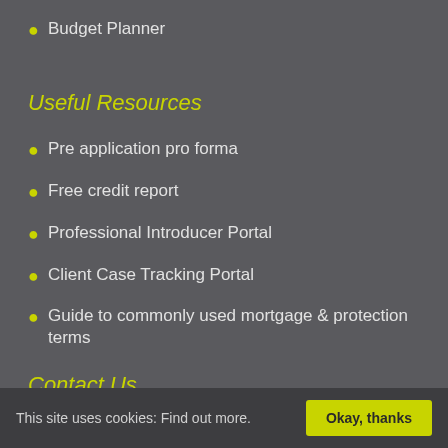Budget Planner
Useful Resources
Pre application pro forma
Free credit report
Professional Introducer Portal
Client Case Tracking Portal
Guide to commonly used mortgage & protection terms
Contact Us
Ascentia Mortgage Solutions Ltd
This site uses cookies: Find out more.